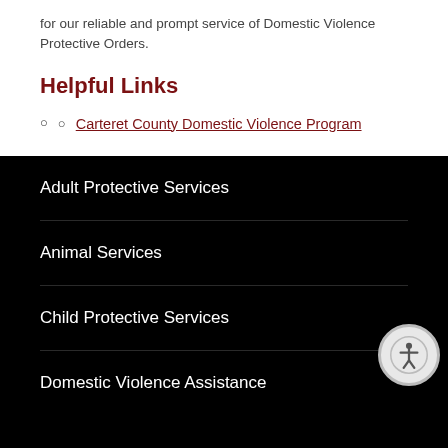for our reliable and prompt service of Domestic Violence Protective Orders.
Helpful Links
Carteret County Domestic Violence Program
Adult Protective Services
Animal Services
Child Protective Services
Domestic Violence Assistance